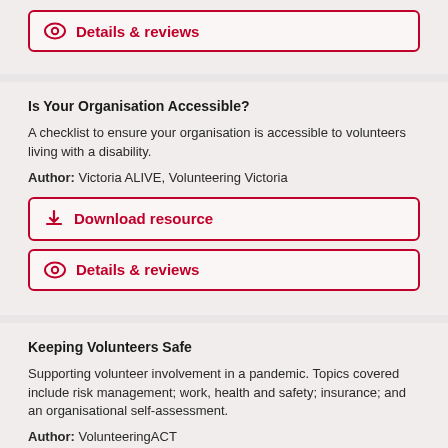Details & reviews
Is Your Organisation Accessible?
A checklist to ensure your organisation is accessible to volunteers living with a disability.
Author: Victoria ALIVE, Volunteering Victoria
Download resource
Details & reviews
Keeping Volunteers Safe
Supporting volunteer involvement in a pandemic. Topics covered include risk management; work, health and safety; insurance; and an organisational self-assessment.
Author: VolunteeringACT
Download resource